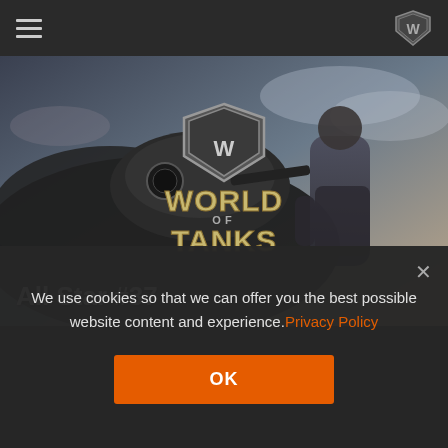Navigation bar with hamburger menu and World of Tanks icon
[Figure (screenshot): World of Tanks game promotional banner showing a tank and a soldier with the World of Tanks logo. Text reads 'All Star #37' at the bottom left.]
We use cookies so that we can offer you the best possible website content and experience. Privacy Policy
OK